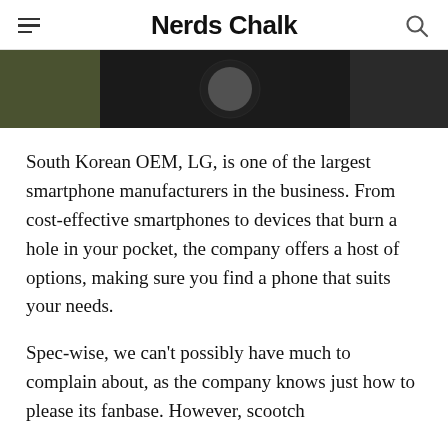Nerds Chalk
[Figure (photo): Partial view of an LG smartphone or device against a dark and olive-green background]
South Korean OEM, LG, is one of the largest smartphone manufacturers in the business. From cost-effective smartphones to devices that burn a hole in your pocket, the company offers a host of options, making sure you find a phone that suits your needs.
Spec-wise, we can’t possibly have much to complain about, as the company knows just how to please its fanbase. However, scootch